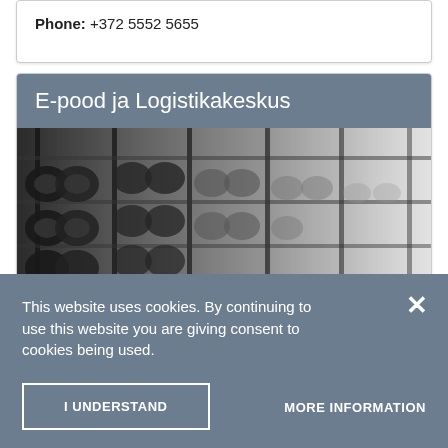Phone: +372 5552 5655
E-pood ja Logistikakeskus
[Figure (photo): Black and white photo of a large warehouse with tall shelving racks stacked with tires]
This website uses cookies. By continuing to use this website you are giving consent to cookies being used.
I UNDERSTAND
MORE INFORMATION